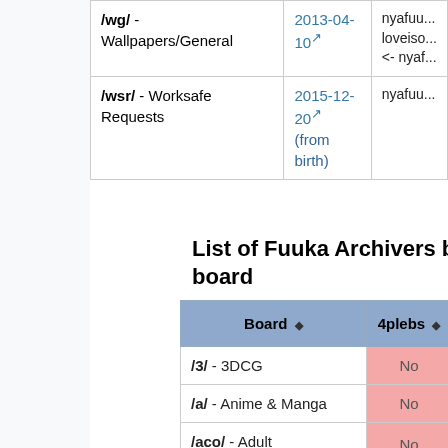| Board | Date | Archiver |
| --- | --- | --- |
| /wg/ - Wallpapers/General | 2013-04-10 | nyafuu... loveiso... <- nyaf... |
| /wsr/ - Worksafe Requests | 2015-12-20 (from birth) | nyafuu... |
List of Fuuka Archivers by board
| Board | 4plebs | Nyafuu... |
| --- | --- | --- |
| /3/ - 3DCG | No | No |
| /a/ - Anime & Manga | No | No |
| /aco/ - Adult | No | No |